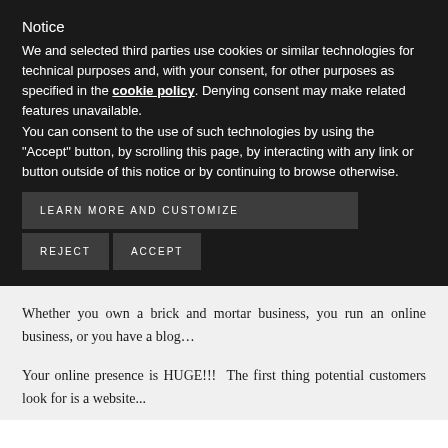Notice
We and selected third parties use cookies or similar technologies for technical purposes and, with your consent, for other purposes as specified in the cookie policy. Denying consent may make related features unavailable.
You can consent to the use of such technologies by using the “Accept” button, by scrolling this page, by interacting with any link or button outside of this notice or by continuing to browse otherwise.
LEARN MORE AND CUSTOMIZE
REJECT    ACCEPT
Whether you own a brick and mortar business, you run an online business, or you have a blog…
Your online presence is HUGE!!!  The first thing potential customers look for is a website...